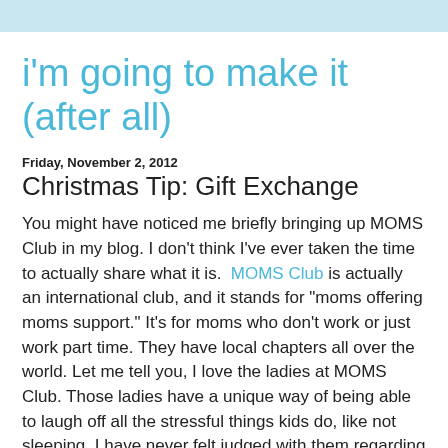i'm going to make it (after all)
Friday, November 2, 2012
Christmas Tip: Gift Exchange
You might have noticed me briefly bringing up MOMS Club in my blog. I don't think I've ever taken the time to actually share what it is.  MOMS Club is actually an international club, and it stands for "moms offering moms support." It's for moms who don't work or just work part time. They have local chapters all over the world. Let me tell you, I love the ladies at MOMS Club. Those ladies have a unique way of being able to laugh off all the stressful things kids do, like not sleeping. I have never felt judged with them regarding my